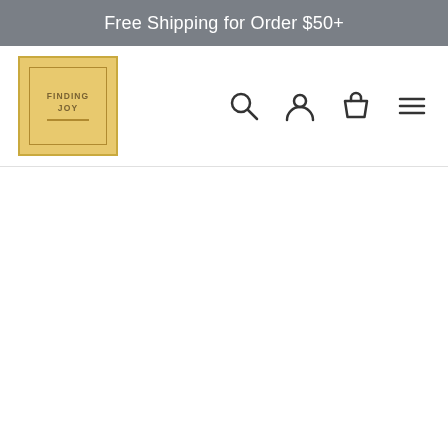Free Shipping for Order $50+
[Figure (logo): Finding Joy logo - golden/yellow square with inner border and text FINDING JOY]
[Figure (infographic): Navigation bar with search icon, user/account icon, shopping bag icon, and hamburger menu icon]